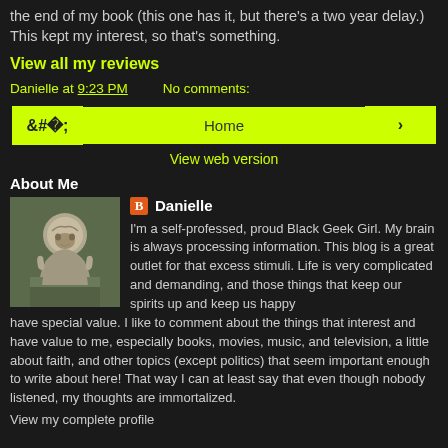the end of my book (this one has it, but there's a two year delay.) This kept my interest, so that's something.
View all my reviews
Danielle at 9:23 PM    No comments:
‹  Home  ›
View web version
About Me
[Figure (photo): Photo of a stone angel statue in a garden setting]
Danielle
I'm a self-professed, proud Black Geek Girl. My brain is always processing information. This blog is a great outlet for that excess stimuli. Life is very complicated and demanding, and those things that keep our spirits up and keep us happy have special value. I like to comment about the things that interest and have value to me, especially books, movies, music, and television, a little about faith, and other topics (except politics) that seem important enough to write about here! That way I can at least say that even though nobody listened, my thoughts are immortalized.
View my complete profile